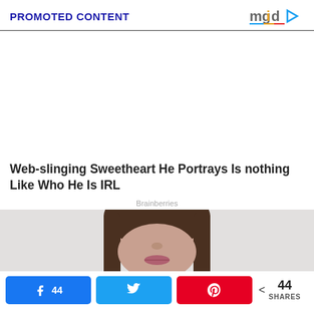PROMOTED CONTENT
[Figure (logo): mgid logo with colorful play button icon]
[Figure (photo): White blank advertisement space placeholder]
Web-slinging Sweetheart He Portrays Is nothing Like Who He Is IRL
Brainberries
[Figure (photo): Close-up photo of a young Asian woman's face from nose down, with dark hair framing face, light gray background]
44  44 SHARES